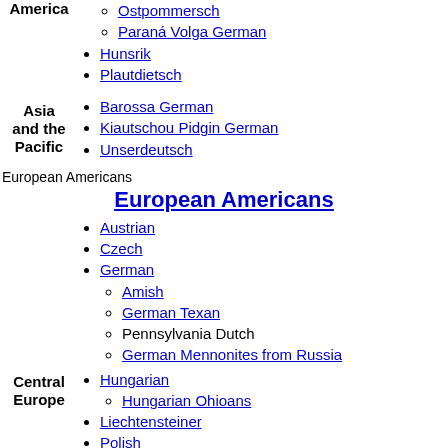Ostpommersch
Paraná Volga German
Hunsrik
Plautdietsch
Asia and the Pacific
Barossa German
Kiautschou Pidgin German
Unserdeutsch
European Americans
European Americans
Austrian
Czech
German
Amish
German Texan
Pennsylvania Dutch
German Mennonites from Russia
Central Europe
Hungarian
Hungarian Ohioans
Liechtensteiner
Polish
Kashubian
Slovak
Sorbian